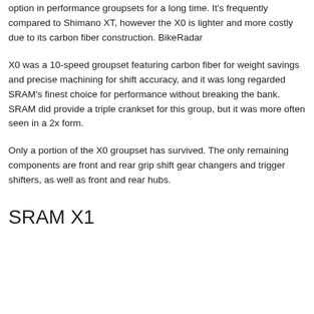option in performance groupsets for a long time. It's frequently compared to Shimano XT, however the X0 is lighter and more costly due to its carbon fiber construction. BikeRadar
X0 was a 10-speed groupset featuring carbon fiber for weight savings and precise machining for shift accuracy, and it was long regarded SRAM's finest choice for performance without breaking the bank. SRAM did provide a triple crankset for this group, but it was more often seen in a 2x form.
Only a portion of the X0 groupset has survived. The only remaining components are front and rear grip shift gear changers and trigger shifters, as well as front and rear hubs.
SRAM X1